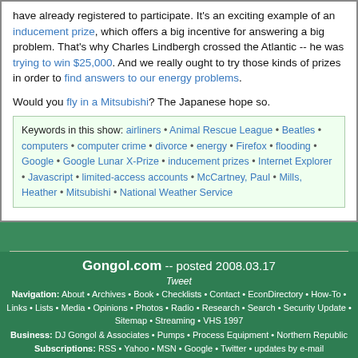have already registered to participate. It's an exciting example of an inducement prize, which offers a big incentive for answering a big problem. That's why Charles Lindbergh crossed the Atlantic -- he was trying to win $25,000. And we really ought to try those kinds of prizes in order to find answers to our energy problems.
Would you fly in a Mitsubishi? The Japanese hope so.
Keywords in this show: airliners • Animal Rescue League • Beatles • computers • computer crime • divorce • energy • Firefox • flooding • Google • Google Lunar X-Prize • inducement prizes • Internet Explorer • Javascript • limited-access accounts • McCartney, Paul • Mills, Heather • Mitsubishi • National Weather Service
Gongol.com -- posted 2008.03.17
Tweet
Navigation: About • Archives • Book • Checklists • Contact • EconDirectory • How-To • Links • Lists • Media • Opinions • Photos • Radio • Research • Search • Security Update • Sitemap • Streaming • VHS 1997
Business: DJ Gongol & Associates • Pumps • Process Equipment • Northern Republic
Subscriptions: RSS • Yahoo • MSN • Google • Twitter • updates by e-mail
Stores: Bookstore • Pump Store • Graphics Store • Web Hosting